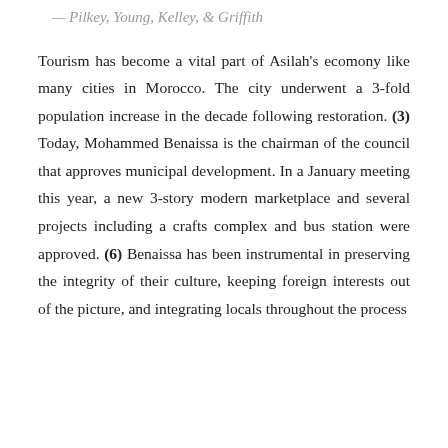— Pilkey, Young, Kelley, & Griffith
Tourism has become a vital part of Asilah's ecomony like many cities in Morocco. The city underwent a 3-fold population increase in the decade following restoration. (3) Today, Mohammed Benaissa is the chairman of the council that approves municipal development. In a January meeting this year, a new 3-story modern marketplace and several projects including a crafts complex and bus station were approved. (6) Benaissa has been instrumental in preserving the integrity of their culture, keeping foreign interests out of the picture, and integrating locals throughout the process